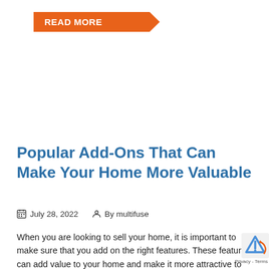[Figure (other): Orange 'READ MORE' button with arrow/chevron shape on left side of page]
Popular Add-Ons That Can Make Your Home More Valuable
July 28, 2022   By multifuse
When you are looking to sell your home, it is important to make sure that you add on the right features. These features can add value to your home and make it more attractive to potential buyers. These are three of the